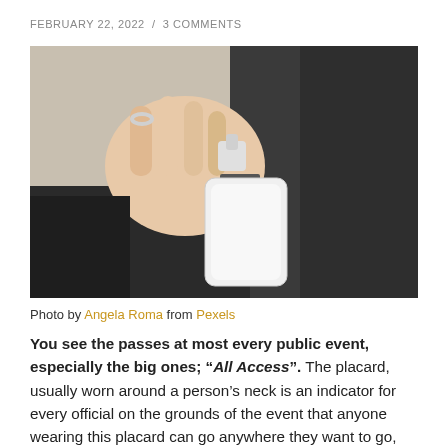FEBRUARY 22, 2022  /  3 COMMENTS
[Figure (photo): A person holding up a blank white ID badge/lanyard holder against a dark background. The person is wearing a silver ring and a black outfit.]
Photo by Angela Roma from Pexels
You see the passes at most every public event, especially the big ones; “All Access”. The placard, usually worn around a person’s neck is an indicator for every official on the grounds of the event that anyone wearing this placard can go anywhere they want to go, and....at